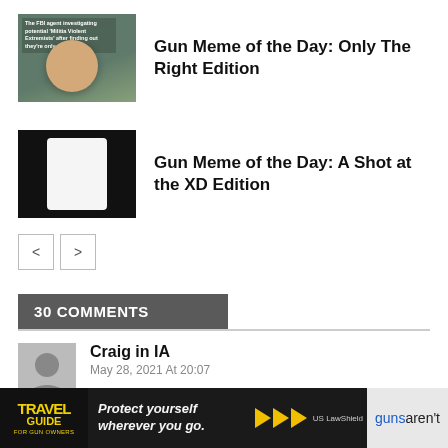[Figure (photo): Thumbnail image for Gun Meme article 1 - man with text overlay about FBI agent]
Gun Meme of the Day: Only The Right Edition
[Figure (illustration): Thumbnail image for Gun Meme article 2 - anime style illustration on black background]
Gun Meme of the Day: A Shot at the XD Edition
< >
30 COMMENTS
Craig in IA
May 28, 2021 At 20:07
Hey- watch it! You can put your eye out with one of those things! Real guns aren't
[Figure (photo): Advertisement banner: Travel Guide For Gun Owners - Protect yourself wherever you go. US LawShield]